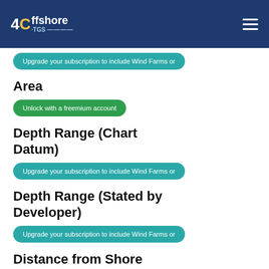4C Offshore TGS
Upgrade your subscription to include Wind Farms or
Area
Unlock with a freemium account
Depth Range (Chart Datum)
Upgrade your subscription to include Wind Farms or
Depth Range (Stated by Developer)
Upgrade your subscription to include Wind Farms or
Distance from Shore (Developer)
Unlock with a freemium account